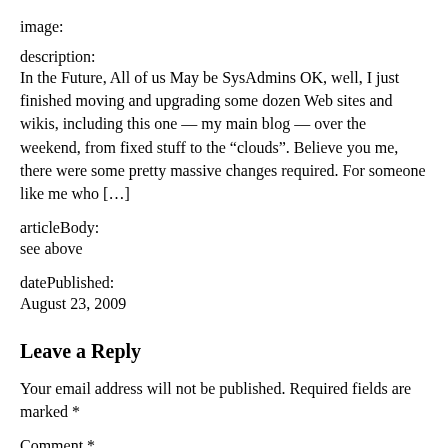image:
description:
In the Future, All of us May be SysAdmins OK, well, I just finished moving and upgrading some dozen Web sites and wikis, including this one — my main blog — over the weekend, from fixed stuff to the “clouds”. Believe you me, there were some pretty massive changes required. For someone like me who […]
articleBody:
see above
datePublished:
August 23, 2009
Leave a Reply
Your email address will not be published. Required fields are marked *
Comment *